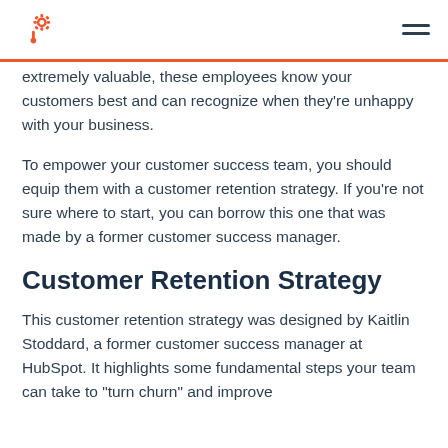HubSpot logo and navigation menu
extremely valuable, these employees know your customers best and can recognize when they're unhappy with your business.
To empower your customer success team, you should equip them with a customer retention strategy. If you're not sure where to start, you can borrow this one that was made by a former customer success manager.
Customer Retention Strategy
This customer retention strategy was designed by Kaitlin Stoddard, a former customer success manager at HubSpot. It highlights some fundamental steps your team can take to "turn churn" and improve